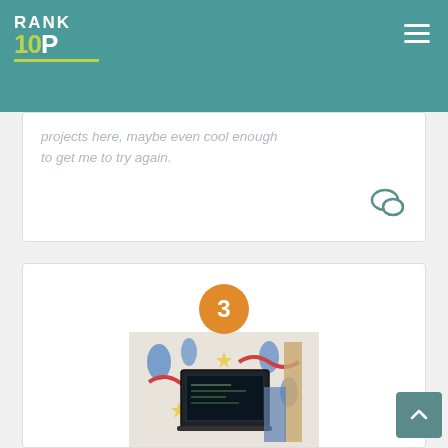RANK 10P
projects here, maybe even cool enough to get me to try again.
[Figure (illustration): Comment/speech bubble icon in teal]
[Figure (infographic): Orange circle badge with number 3]
[Figure (photo): Photo of a laptop on a decorative fabric/textile background with colorful superhero patterns]